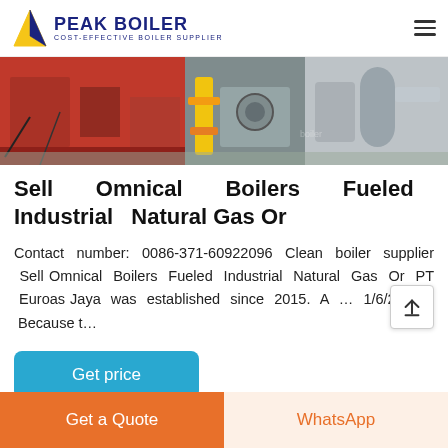PEAK BOILER COST-EFFECTIVE BOILER SUPPLIER
[Figure (photo): Industrial boiler equipment photo showing red boiler unit, yellow gas pipe, and metal ducting/exhaust components on a floor.]
Sell Omnical Boilers Fueled Industrial Natural Gas Or
Contact number: 0086-371-60922096 Clean boiler supplier Sell Omnical Boilers Fueled Industrial Natural Gas Or PT Euroas Jaya was established since 2015. A … 1/6/2017 · Because t…
Get price
Get a Quote
WhatsApp